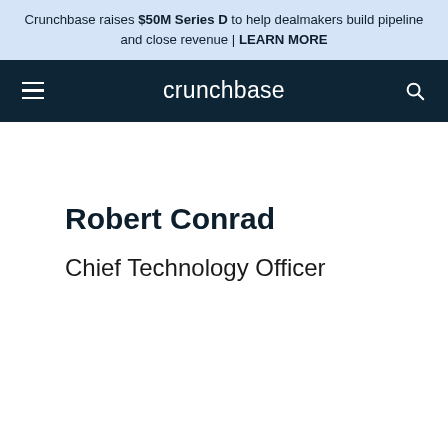Crunchbase raises $50M Series D to help dealmakers build pipeline and close revenue | LEARN MORE
[Figure (screenshot): Crunchbase navigation bar with hamburger menu, crunchbase logo, and search icon on dark blue background]
Robert Conrad
Chief Technology Officer